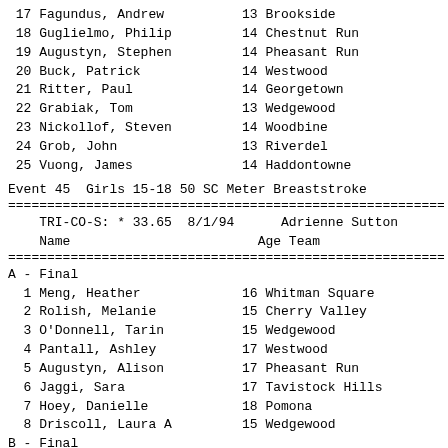17 Fagundus, Andrew          13 Brookside
18 Guglielmo, Philip          14 Chestnut Run
19 Augustyn, Stephen          14 Pheasant Run
20 Buck, Patrick              14 Westwood
21 Ritter, Paul               14 Georgetown
22 Grabiak, Tom               13 Wedgewood
23 Nickollof, Steven          14 Woodbine
24 Grob, John                 13 Riverdel
25 Vuong, James               14 Haddontowne
Event 45  Girls 15-18 50 SC Meter Breaststroke
TRI-CO-S: * 33.65  8/1/94    Adrienne Sutton
    Name                        Age Team                        Pre
A - Final
1 Meng, Heather             16 Whitman Square
2 Rolish, Melanie           15 Cherry Valley
3 O'Donnell, Tarin          15 Wedgewood
4 Pantall, Ashley           17 Westwood
5 Augustyn, Alison          17 Pheasant Run
6 Jaggi, Sara               17 Tavistock Hills
7 Hoey, Danielle            18 Pomona
8 Driscoll, Laura A         15 Wedgewood
B - Final
9 Caccia, Ellen             18 Stratford
10 McKenna, Cheryl           18 Deerbrook
11 Totten, Jenny             17 Greenfields
12 Cregar, Mandee            15 Greenwood Park
13 Murphy, Jill              18 Woodstream